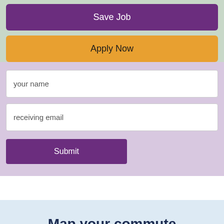Save Job
Apply Now
your name
receiving email
Submit
Map your commute
We encourage you to verify you are applying to your prefered location.